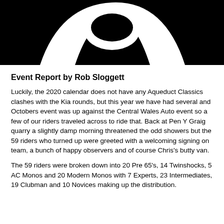[Figure (photo): Black and white image with a white curved shape (possibly a logo or helmet) against a black background, cropped at top of page]
Event Report by Rob Sloggett
Luckily, the 2020 calendar does not have any Aqueduct Classics clashes with the Kia rounds, but this year we have had several and Octobers event was up against the Central Wales Auto event so a few of our riders traveled across to ride that. Back at Pen Y Graig quarry a slightly damp morning threatened the odd showers but the 59 riders who turned up were greeted with a welcoming signing on team, a bunch of happy observers and of course Chris's butty van.
The 59 riders were broken down into 20 Pre 65's, 14 Twinshocks, 5 AC Monos and 20 Modern Monos with 7 Experts, 23 Intermediates, 19 Clubman and 10 Novices making up the distribution.